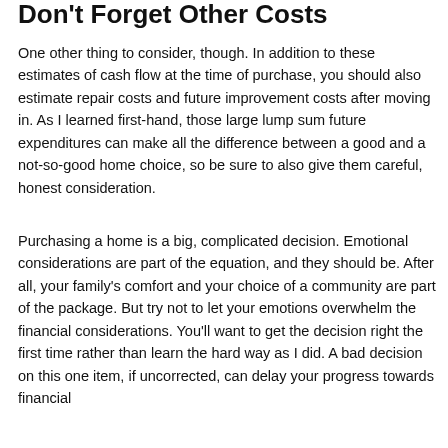Don't Forget Other Costs
One other thing to consider, though. In addition to these estimates of cash flow at the time of purchase, you should also estimate repair costs and future improvement costs after moving in. As I learned first-hand, those large lump sum future expenditures can make all the difference between a good and a not-so-good home choice, so be sure to also give them careful, honest consideration.
Purchasing a home is a big, complicated decision. Emotional considerations are part of the equation, and they should be. After all, your family's comfort and your choice of a community are part of the package. But try not to let your emotions overwhelm the financial considerations. You'll want to get the decision right the first time rather than learn the hard way as I did. A bad decision on this one item, if uncorrected, can delay your progress towards financial